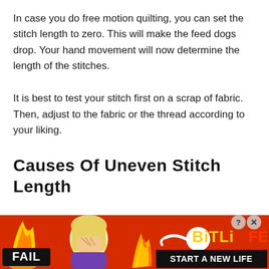In case you do free motion quilting, you can set the stitch length to zero. This will make the feed dogs drop. Your hand movement will now determine the length of the stitches.
It is best to test your stitch first on a scrap of fabric. Then, adjust to the fabric or the thread according to your liking.
Causes Of Uneven Stitch Length
[Figure (screenshot): Advertisement banner for BitLife mobile game showing 'FAIL' text, cartoon blonde woman facepalming, fire and flame graphics, BitLife logo with sperm icon, and 'START A NEW LIFE' text on black background. Has a close button (X) and help button (?) in top right corner.]